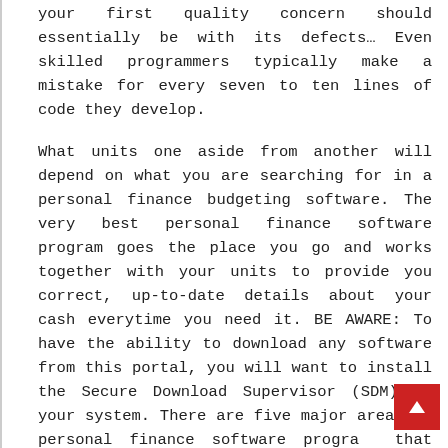your first quality concern should essentially be with its defects… Even skilled programmers typically make a mistake for every seven to ten lines of code they develop.
What units one aside from another will depend on what you are searching for in a personal finance budgeting software. The very best personal finance software program goes the place you go and works together with your units to provide you correct, up-to-date details about your cash everytime you need it. BE AWARE: To have the ability to download any software from this portal, you will want to install the Secure Download Supervisor (SDM) on your system. There are five major areas of personal finance software programs that will help you manage your money.